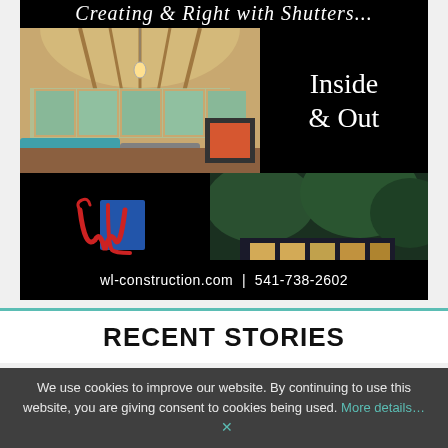[Figure (photo): Advertisement for W&L Construction Inc. showing interior and exterior home photos with text 'Inside & Out' and contact info wl-construction.com | 541-738-2602]
RECENT STORIES
We use cookies to improve our website. By continuing to use this website, you are giving consent to cookies being used. More details… ✕